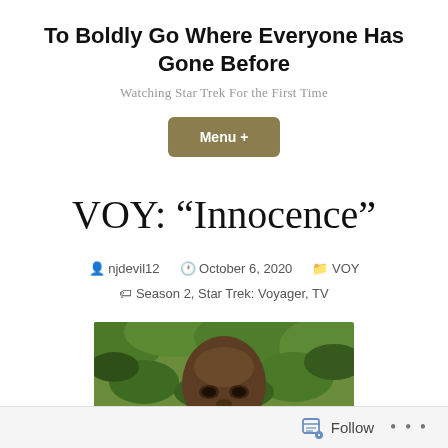To Boldly Go Where Everyone Has Gone Before
Watching Star Trek For the First Time
Menu +
VOY: “Innocence”
njdevil12   October 6, 2020   VOY   Season 2, Star Trek: Voyager, TV
[Figure (photo): Close-up photo of a man's face with green foliage in the background, partially cropped at bottom]
Follow •••